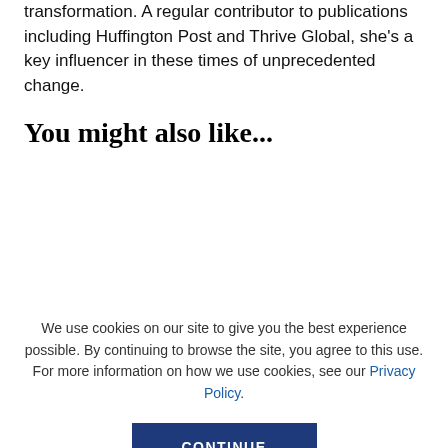transformation. A regular contributor to publications including Huffington Post and Thrive Global, she's a key influencer in these times of unprecedented change.
You might also like...
We use cookies on our site to give you the best experience possible. By continuing to browse the site, you agree to this use. For more information on how we use cookies, see our Privacy Policy.